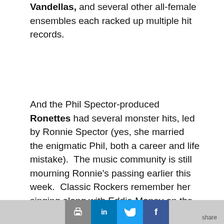Vandellas, and several other all-female ensembles each racked up multiple hit records.
And the Phil Spector-produced Ronettes had several monster hits, led by Ronnie Spector (yes, she married the enigmatic Phil, both a career and life mistake).  The music community is still mourning Ronnie's passing earlier this week.  Classic Rockers remember her singing along with Eddie Money on the hit, “Take Me Home Tonight.”  More than two decades after the Ronettes’ hit, “Be My Baby,” Ronnie’s vocals made the song a massive hit.
[Figure (screenshot): Social media share bar with print, LinkedIn, Twitter, and Facebook buttons]